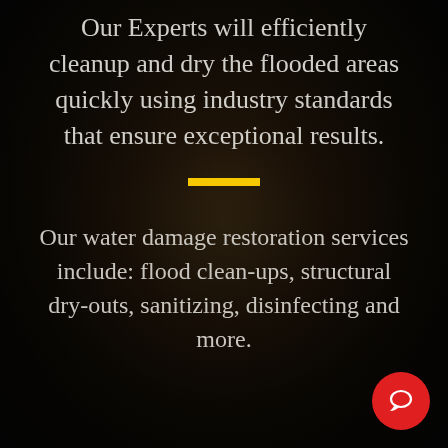Our Experts will efficiently cleanup and dry the flooded areas quickly using industry standards that ensure exceptional results.
[Figure (other): Yellow horizontal decorative divider bar]
Our water damage restoration services include: flood clean-ups, structural dry-outs, sanitizing, disinfecting and more.
[Figure (other): Red circular chat/support button in bottom-right corner with speech bubble icon]